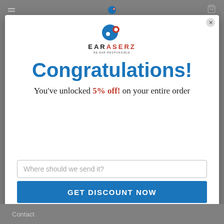Earaserz navigation bar (hamburger menu, logo, cart icon)
[Figure (logo): Earaserz logo with icon, brand name EARASERZ, tagline Be Ear-Responsible]
Congratulations!
You've unlocked 5% off! on your entire order
Where should we send it?
GET DISCOUNT NOW
Contact